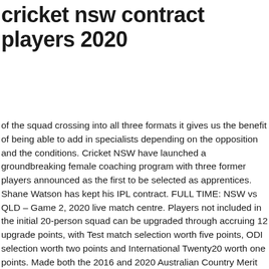cricket nsw contract players 2020
of the squad crossing into all three formats it gives us the benefit of being able to add in specialists depending on the opposition and the conditions. Cricket NSW have launched a groundbreaking female coaching program with three former players announced as the first to be selected as apprentices. Shane Watson has kept his IPL contract. FULL TIME: NSW vs QLD – Game 2, 2020 live match centre. Players not included in the initial 20-person squad can be upgraded through accruing 12 upgrade points, with Test match selection worth five points, ODI selection worth two points and International Twenty20 worth one points. Made both the 2016 and 2020 Australian Country Merit teams. Auckland Hearts Women & Northern Spirit Women Players Battle Wicket Records Details For AHW vs NSW (18th Match) Womens Super Smash 2020-21 On Eden Park Outer Oval Auckland Players Battle Of AHW vs NSW (18th Match) WSS 2020-21 Which brings his retaining fee's upto ($250,000). Cricket Australia (CA) has announced the list of 20 men and 15 women players to be awarded national contracts for 2020-21. This site also provides details of awarded contracts over